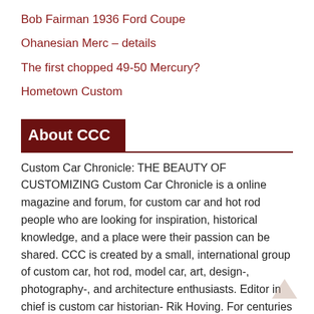Bob Fairman 1936 Ford Coupe
Ohanesian Merc – details
The first chopped 49-50 Mercury?
Hometown Custom
About CCC
Custom Car Chronicle: THE BEAUTY OF CUSTOMIZING Custom Car Chronicle is a online magazine and forum, for custom car and hot rod people who are looking for inspiration, historical knowledge, and a place were their passion can be shared. CCC is created by a small, international group of custom car, hot rod, model car, art, design-, photography-, and architecture enthusiasts. Editor in chief is custom car historian- Rik Hoving. For centuries people are inspired to built